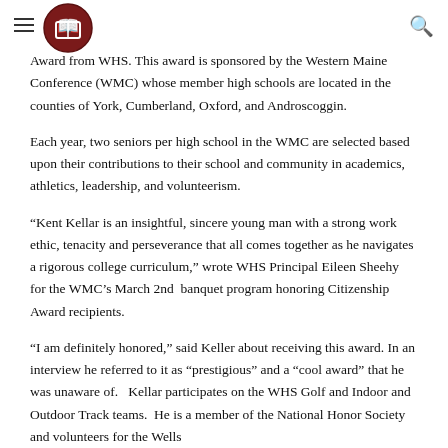[Navigation header with hamburger menu, logo, and search icon]
Award from WHS. This award is sponsored by the Western Maine Conference (WMC) whose member high schools are located in the counties of York, Cumberland, Oxford, and Androscoggin.
Each year, two seniors per high school in the WMC are selected based upon their contributions to their school and community in academics, athletics, leadership, and volunteerism.
“Kent Kellar is an insightful, sincere young man with a strong work ethic, tenacity and perseverance that all comes together as he navigates a rigorous college curriculum,” wrote WHS Principal Eileen Sheehy for the WMC’s March 2nd  banquet program honoring Citizenship Award recipients.
“I am definitely honored,” said Keller about receiving this award. In an interview he referred to it as “prestigious” and a “cool award” that he was unaware of.   Kellar participates on the WHS Golf and Indoor and Outdoor Track teams.  He is a member of the National Honor Society and volunteers for the Wells